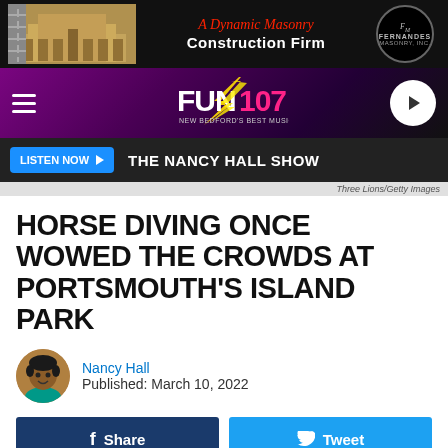[Figure (screenshot): Top advertisement banner for Fernandes Masonry - A Dynamic Masonry Construction Firm]
[Figure (screenshot): Fun 107 radio station navigation bar with hamburger menu, Fun 107 logo, and play button]
[Figure (screenshot): Listen Now button bar showing THE NANCY HALL SHOW]
Three Lions/Getty Images
HORSE DIVING ONCE WOWED THE CROWDS AT PORTSMOUTH'S ISLAND PARK
Nancy Hall
Published: March 10, 2022
[Figure (screenshot): Share and Tweet social media buttons]
[Figure (screenshot): Bottom advertisement banner for Fernandes Masonry - A Dynamic Masonry Construction Firm]